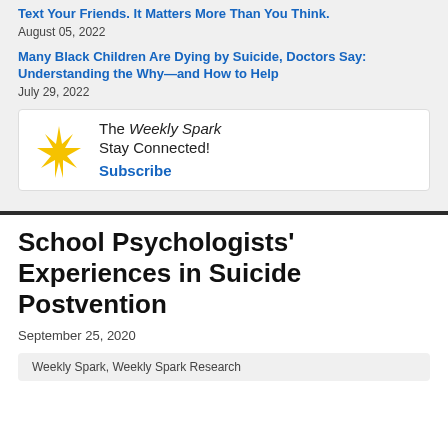Text Your Friends. It Matters More Than You Think.
August 05, 2022
Many Black Children Are Dying by Suicide, Doctors Say: Understanding the Why—and How to Help
July 29, 2022
[Figure (infographic): The Weekly Spark newsletter signup box with a yellow starburst icon, text 'The Weekly Spark Stay Connected!' and a Subscribe link]
School Psychologists' Experiences in Suicide Postvention
September 25, 2020
Weekly Spark, Weekly Spark Research